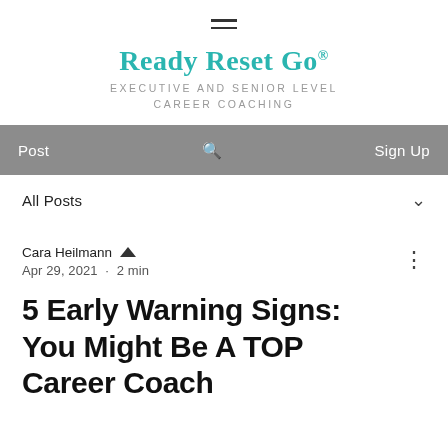[Figure (logo): Hamburger menu icon (three horizontal lines)]
Ready Reset Go®
EXECUTIVE AND SENIOR LEVEL CAREER COACHING
Post  🔍  Sign Up
All Posts
Cara Heilmann  Apr 29, 2021  ·  2 min
5 Early Warning Signs: You Might Be A TOP Career Coach